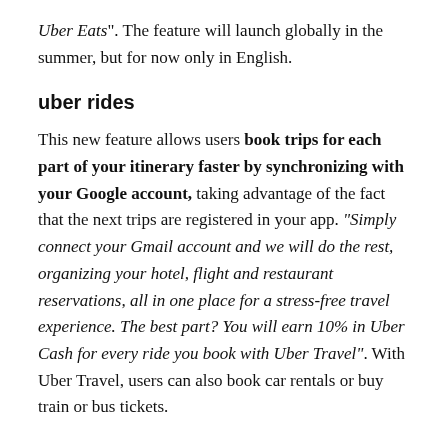Uber Eats". The feature will launch globally in the summer, but for now only in English.
uber rides
This new feature allows users book trips for each part of your itinerary faster by synchronizing with your Google account, taking advantage of the fact that the next trips are registered in your app. “Simply connect your Gmail account and we will do the rest, organizing your hotel, flight and restaurant reservations, all in one place for a stress-free travel experience. The best part? You will earn 10% in Uber Cash for every ride you book with Uber Travel”. With Uber Travel, users can also book car rentals or buy train or bus tickets.